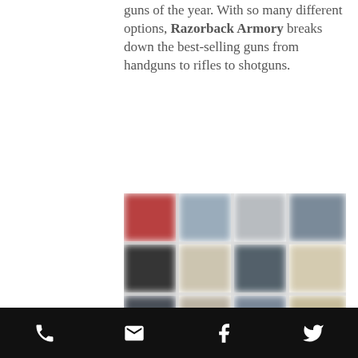guns of the year. With so many different options, Razorback Armory breaks down the best-selling guns from handguns to rifles to shotguns.
[Figure (photo): Blurred mosaic image showing various handguns arranged in a grid pattern]
Pistols:
Sig Sauer P320 X Compact
It comes with a flat trigger and has a built-in optics plate. Sig knocked it
Phone, Email, Facebook, Twitter icons